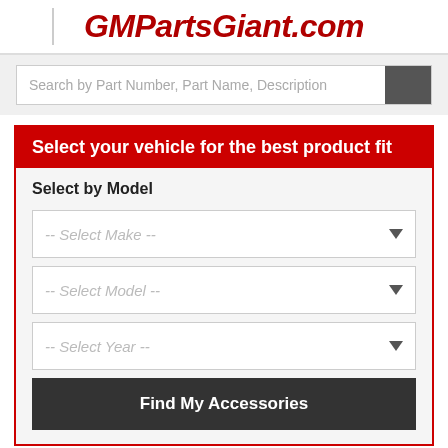GMPartsGiant.com
Search by Part Number, Part Name, Description
Select your vehicle for the best product fit
Select by Model
-- Select Make --
-- Select Model --
-- Select Year --
Find My Accessories
Home > Cadillac Accessories > XT6 > Tools